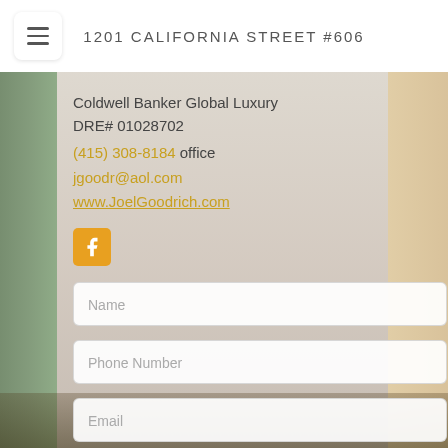1201 CALIFORNIA STREET #606
Coldwell Banker Global Luxury
DRE# 01028702
(415) 308-8184 office
jgoodr@aol.com
www.JoelGoodrich.com
[Figure (logo): Facebook icon — yellow/gold square with white F logo]
Name
Phone Number
Email